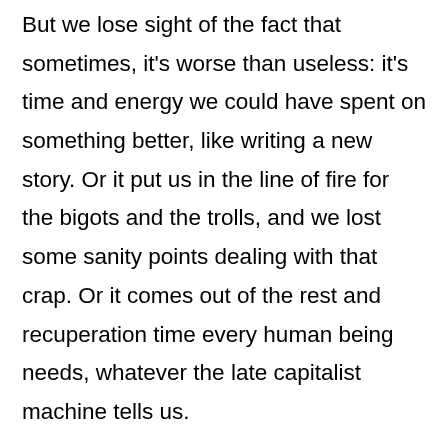But we lose sight of the fact that sometimes, it's worse than useless: it's time and energy we could have spent on something better, like writing a new story. Or it put us in the line of fire for the bigots and the trolls, and we lost some sanity points dealing with that crap. Or it comes out of the rest and recuperation time every human being needs, whatever the late capitalist machine tells us.
Readers have the real power here. A study some years ago found the number one reason people buy a book is that they've read and liked something by that author.